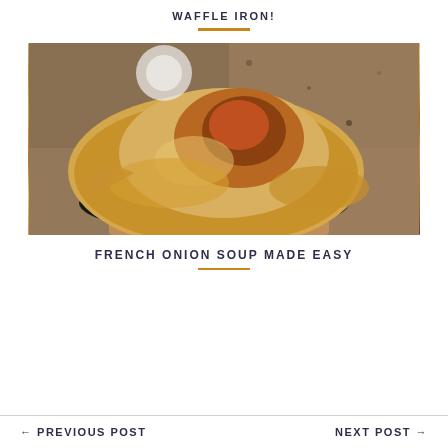WAFFLE IRON!
[Figure (photo): A bowl of French onion soup with a golden-brown puff pastry crust on a dark ceramic bowl, placed on a granite countertop]
FRENCH ONION SOUP MADE EASY
← PREVIOUS POST    NEXT POST →